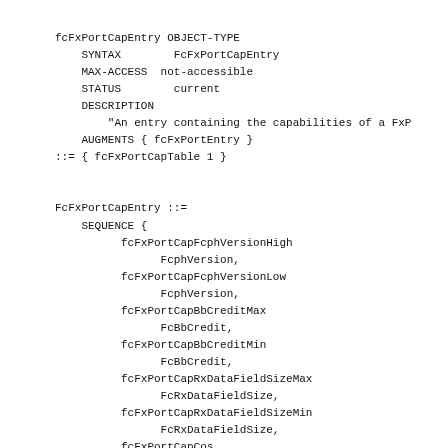fcFxPortCapEntry OBJECT-TYPE
    SYNTAX        FcFxPortCapEntry
    MAX-ACCESS  not-accessible
    STATUS        current
    DESCRIPTION
        "An entry containing the capabilities of a FxP
    AUGMENTS { fcFxPortEntry }
::= { fcFxPortCapTable 1 }


FcFxPortCapEntry ::=
    SEQUENCE {
          fcFxPortCapFcphVersionHigh
                FcphVersion,
          fcFxPortCapFcphVersionLow
                FcphVersion,
          fcFxPortCapBbCreditMax
                FcBbCredit,
          fcFxPortCapBbCreditMin
                FcBbCredit,
          fcFxPortCapRxDataFieldSizeMax
                FcRxDataFieldSize,
          fcFxPortCapRxDataFieldSizeMin
                FcRxDataFieldSize,
          fcFxPortCapCos
                FcCosCap,
          fcFxPortCapIntermix
                TruthValue